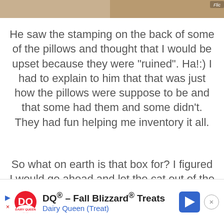[Figure (photo): Partial photo visible at top of page, showing what appears to be a light-colored animal or fabric, with a watermark label in top right corner]
He saw the stamping on the back of some of the pillows and thought that I would be upset because they were "ruined". Ha!:) I had to explain to him that that was just how the pillows were suppose to be and that some had them and some didn't. They had fun helping me inventory it all.
So what on earth is that box for? I figured I would go ahead and let the cat out of the bag and tell y'all...
[Figure (infographic): Advertisement banner for Dairy Queen at bottom of page. Shows DQ logo, text 'DQ® - Fall Blizzard® Treats' and 'Dairy Queen (Treat)', a blue navigation arrow icon, and a close button (X in circle). Has a play button triangle on the left.]